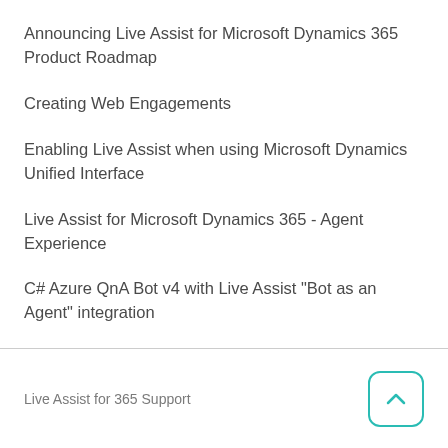Announcing Live Assist for Microsoft Dynamics 365 Product Roadmap
Creating Web Engagements
Enabling Live Assist when using Microsoft Dynamics Unified Interface
Live Assist for Microsoft Dynamics 365 - Agent Experience
C# Azure QnA Bot v4 with Live Assist "Bot as an Agent" integration
Live Assist for 365 Support